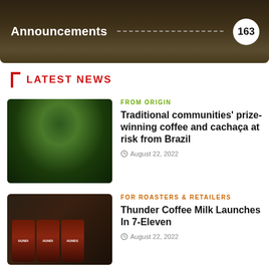[Figure (photo): Announcements banner with coffee cup and newspapers in background, showing 'Announcements' label and badge with number 163]
LATEST NEWS
[Figure (photo): Person harvesting coffee beans in a field, holding a basket]
FROM ORIGIN
Traditional communities' prize-winning coffee and cachaça at risk from Brazil
August 22, 2022
[Figure (photo): Three Thunder Coffee Milk cans (HUNDI brand) on a surface]
FOR ROASTERS & RETAILERS
Thunder Coffee Milk Launches In 7-Eleven
August 22, 2022